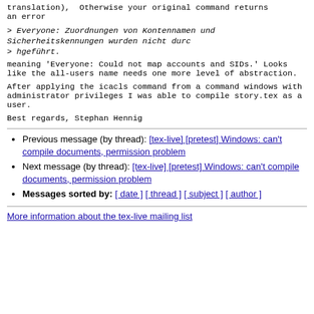translation), Otherwise your original command returns an error
> Everyone: Zuordnungen von Kontennamen und Sicherheitskennungen wurden nicht durc
> hgeführt.
meaning 'Everyone: Could not map accounts and SIDs.' Looks like the
all-users name needs one more level of abstraction.
After applying the icacls command from a command windows with
administrator privileges I was able to compile
story.tex as a user.
Best regards,
Stephan Hennig
Previous message (by thread): [tex-live] [pretest] Windows: can't compile documents, permission problem
Next message (by thread): [tex-live] [pretest] Windows: can't compile documents, permission problem
Messages sorted by: [ date ] [ thread ] [ subject ] [ author ]
More information about the tex-live mailing list